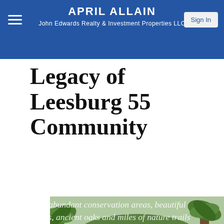APRIL ALLAIN
John Edwards Realty & Investment Properties LLC
Legacy of Leesburg 55 Community
[Figure (photo): Entrance gate/arch of Legacy of Leesburg 55+ community with palm trees, green foliage, and decorative arch structure. Italic white overlay text reads: Legacy of Leesburg is nestled among Central Florida's lakes and hills within a small town setting just 45 minutes northwest of Orlando, Florida. This 55+ community is renowned for its abundant conservation areas, beautiful lakes, ancient oaks and miles of nature trails bordering an...]
Legacy of Leesburg is nestled among Central Florida's lakes and hills within a small town setting just 45 minutes northwest of Orlando, Florida. This 55+ community is renowned for its abundant conservation areas, beautiful lakes, ancient oaks and miles of nature trails bordering an